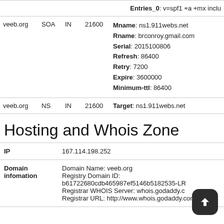|  |  |  |  |  |
| --- | --- | --- | --- | --- |
|  |  |  |  | Entries_0: v=spf1 +a +mx inclu |
| veeb.org | SOA | IN | 21600 | Mname: ns1.911webs.net
Rname: brconroy.gmail.com
Serial: 2015100806
Refresh: 86400
Retry: 7200
Expire: 3600000
Minimum-ttl: 86400 |
| veeb.org | NS | IN | 21600 | Target: ns1.911webs.net |
Hosting and Whois Zone
|  |  |
| --- | --- |
| IP | 167.114.198.252 |
| Domain infomation | Domain Name: veeb.org
Registry Domain ID:
b61722680cdb465987ef5146b5182535-LR
Registrar WHOIS Server: whois.godaddy.c
Registrar URL: http://www.whois.godaddy.com |